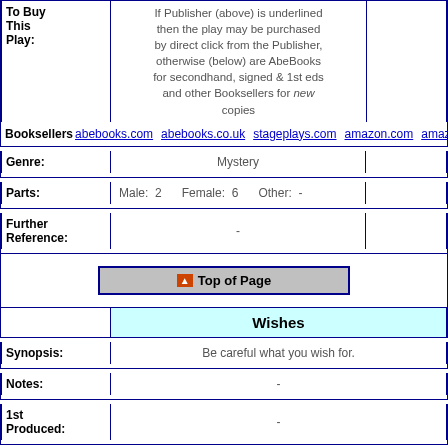| To Buy This Play: |  |
| --- | --- |
| To Buy This Play: | If Publisher (above) is underlined then the play may be purchased by direct click from the Publisher, otherwise (below) are AbeBooks for secondhand, signed & 1st eds and other Booksellers for new copies |
Booksellers: abebooks.com  abebooks.co.uk  stageplays.com  amazon.com  amaz...
| Genre: | Mystery |
| --- | --- |
| Parts: | Male: 2   Female: 6   Other: - |
| --- | --- |
| Further Reference: | - |
| --- | --- |
Top of Page
Wishes
| Synopsis: | Be careful what you wish for. |
| --- | --- |
| Notes: | - |
| --- | --- |
| 1st Produced: | - |
| --- | --- |
| Organisations: | - |
| --- | --- |
| 1st Published: | Eldridge Publishing Company, |
| --- | --- |
| Music: | - |
| --- | --- |
| To Buy This Play: | If Publisher (above) is underlined then the play may be purchased by direct click from the Publisher, |
| --- | --- |